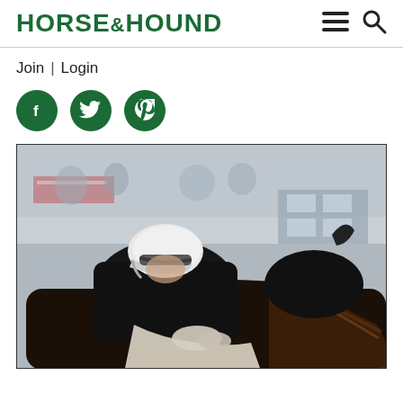HORSE&HOUND
Join | Login
[Figure (other): Three green circular social media icon buttons: Facebook (f), Twitter (bird), Pinterest (P)]
[Figure (photo): A jockey in black jacket and white helmet leaning forward on a dark horse during a race, with a crowd and buildings visible in the blurred background]